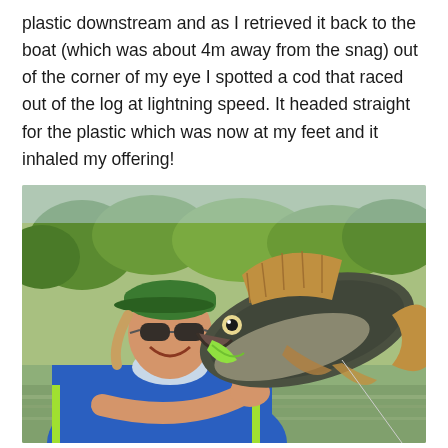plastic downstream and as I retrieved it back to the boat (which was about 4m away from the snag) out of the corner of my eye I spotted a cod that raced out of the log at lightning speed. It headed straight for the plastic which was now at my feet and it inhaled my offering!
[Figure (photo): A smiling man wearing a blue fishing shirt, cap, and sunglasses holds up a large Murray cod fish (a green soft plastic lure visible in its mouth) toward the camera, with a river and green trees in the background.]